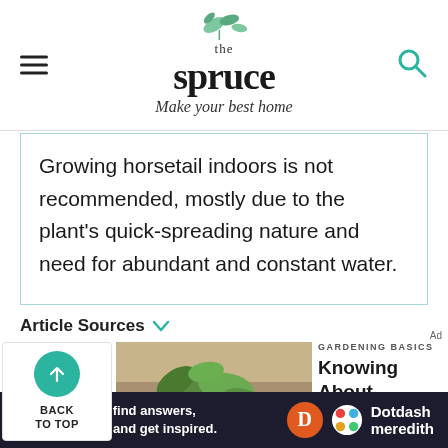the spruce — Make your best home
Growing horsetail indoors is not recommended, mostly due to the plant's quick-spreading nature and need for abundant and constant water.
Article Sources
GARDENING BASICS
Knowing About Rhizomes Helps You Make Smart Plant Choices
[Figure (photo): Close-up photo of plant rhizomes with green leaves]
We help people find answers, solve problems and get inspired. Dotdash meredith